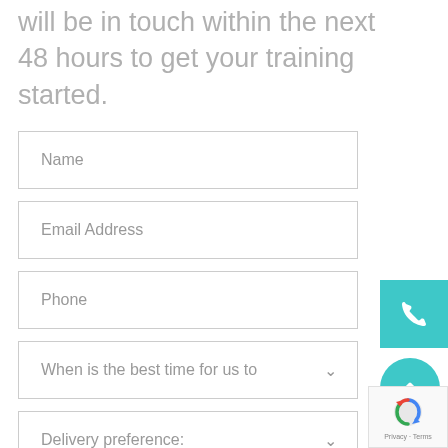will be in touch within the next 48 hours to get your training started.
Name
Email Address
Phone
When is the best time for us to
Delivery preference: